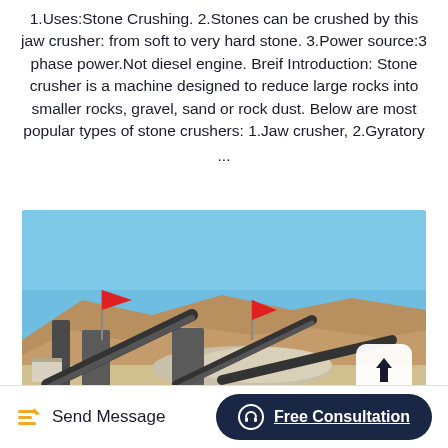1.Uses:Stone Crushing. 2.Stones can be crushed by this jaw crusher: from soft to very hard stone. 3.Power source:3 phase power.Not diesel engine. Breif Introduction: Stone crusher is a machine designed to reduce large rocks into smaller rocks, gravel, sand or rock dust. Below are most popular types of stone crushers: 1.Jaw crusher, 2.Gyratory ...
[Figure (photo): Outdoor stone crushing facility with conveyor belts, machinery, red flags, piles of crushed stone, brown rocky hills in the background, and a clear blue sky.]